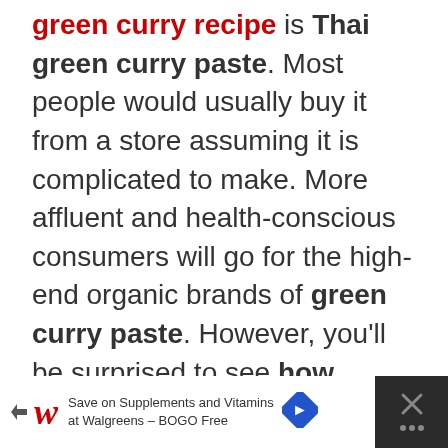green curry recipe is Thai green curry paste. Most people would usually buy it from a store assuming it is complicated to make. More affluent and health-conscious consumers will go for the high-end organic brands of green curry paste. However, you'll be surprised to see how simple it is to make your own Thai Green Curry paste from scratch at home and then store it for extended use later.
[Figure (other): Advertisement banner for Walgreens: Save on Supplements and Vitamins at Walgreens - BOGO Free, with Walgreens logo, navigation arrow icon, and close button]